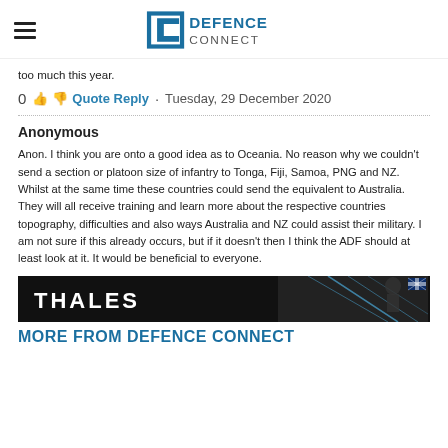Defence Connect
too much this year.
0  Quote Reply  ·  Tuesday, 29 December 2020
Anonymous
Anon. I think you are onto a good idea as to Oceania. No reason why we couldn't send a section or platoon size of infantry to Tonga, Fiji, Samoa, PNG and NZ. Whilst at the same time these countries could send the equivalent to Australia. They will all receive training and learn more about the respective countries topography, difficulties and also ways Australia and NZ could assist their military. I am not sure if this already occurs, but if it doesn't then I think the ADF should at least look at it. It would be beneficial to everyone.
[Figure (other): Thales advertisement banner with logo and soldier imagery]
MORE FROM DEFENCE CONNECT